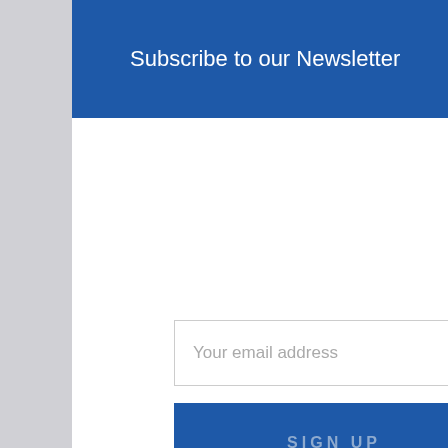Subscribe to our Newsletter
Your email address
SIGN UP
Contact Us
SoCal Properties, Inc.
3268 Governor Drive San Diego, CA 92122
Terri Wrider